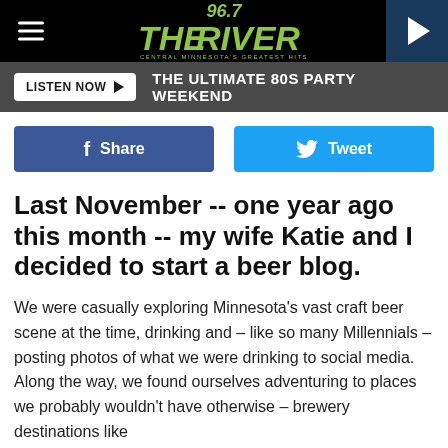[Figure (logo): 96.7 The River radio station logo with hamburger menu and play button in black header bar]
LISTEN NOW ▶  THE ULTIMATE 80S PARTY WEEKEND
[Figure (other): Facebook Share and Twitter Tweet social media buttons]
Last November -- one year ago this month -- my wife Katie and I decided to start a beer blog.
We were casually exploring Minnesota's vast craft beer scene at the time, drinking and – like so many Millennials – posting photos of what we were drinking to social media. Along the way, we found ourselves adventuring to places we probably wouldn't have otherwise – brewery destinations like